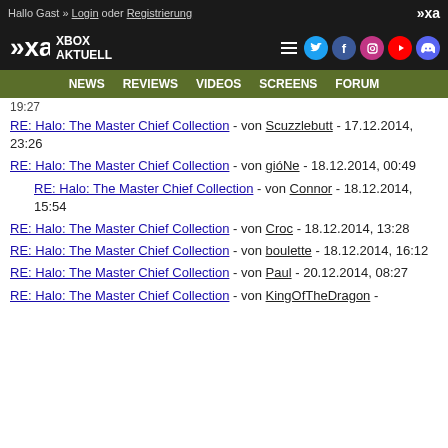Hallo Gast » Login oder Registrierung
[Figure (logo): Xbox Aktuell logo with navigation icons]
NEWS REVIEWS VIDEOS SCREENS FORUM
19:27
RE: Halo: The Master Chief Collection - von Scuzzlebutt - 17.12.2014, 23:26
RE: Halo: The Master Chief Collection - von gióNe - 18.12.2014, 00:49
RE: Halo: The Master Chief Collection - von Connor - 18.12.2014, 15:54
RE: Halo: The Master Chief Collection - von Croc - 18.12.2014, 13:28
RE: Halo: The Master Chief Collection - von boulette - 18.12.2014, 16:12
RE: Halo: The Master Chief Collection - von Paul - 20.12.2014, 08:27
RE: Halo: The Master Chief Collection - von KingOfTheDragon -